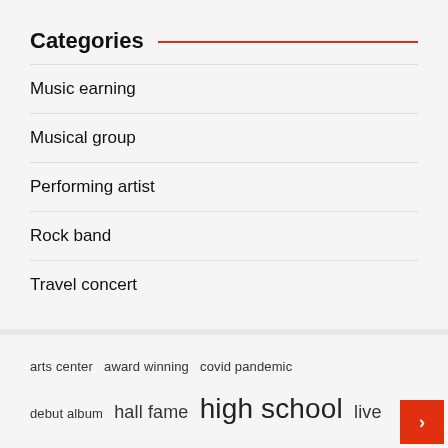Categories
Music earning
Musical group
Performing artist
Rock band
Travel concert
arts center  award winning  covid pandemic  debut album  hall fame  high school  live music  long time  los angeles